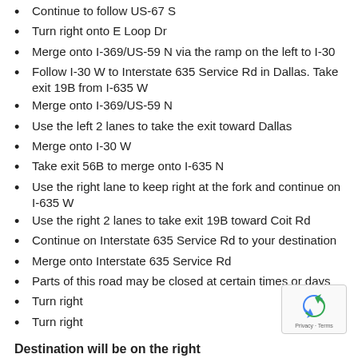Continue to follow US-67 S
Turn right onto E Loop Dr
Merge onto I-369/US-59 N via the ramp on the left to I-30
Follow I-30 W to Interstate 635 Service Rd in Dallas. Take exit 19B from I-635 W
Merge onto I-369/US-59 N
Use the left 2 lanes to take the exit toward Dallas
Merge onto I-30 W
Take exit 56B to merge onto I-635 N
Use the right lane to keep right at the fork and continue on I-635 W
Use the right 2 lanes to take exit 19B toward Coit Rd
Continue on Interstate 635 Service Rd to your destination
Merge onto Interstate 635 Service Rd
Parts of this road may be closed at certain times or days
Turn right
Turn right
Destination will be on the right